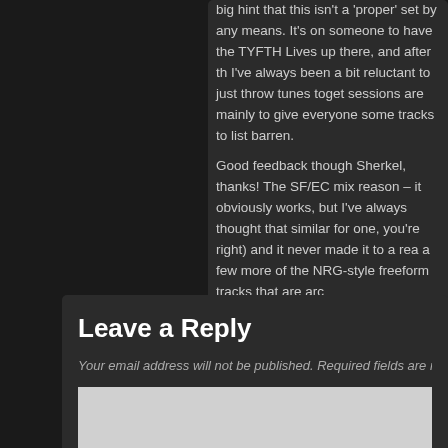big hint that this isn't a 'proper' set by any means. It's on someone to have the TYFTH Lives up there, and after th I've always been a bit reluctant to just throw tunes toget sessions are mainly to give everyone some tracks to list barren.
Good feedback though Sherkel, thanks! The SF/EC mix reason – it obviously works, but I've always thought that similar for one, you're right) and it never made it to a rea a few more of the NRG-style freeform tracks that are arc
Leave a Reply
Your email address will not be published. Required fields are mark